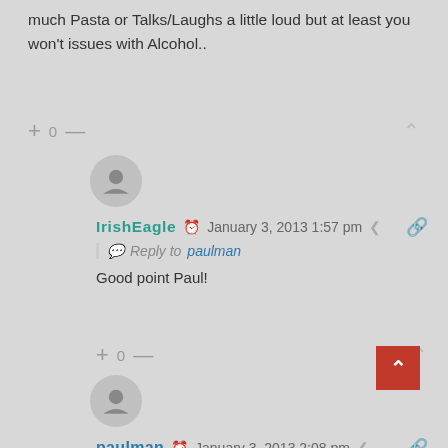much Pasta or Talks/Laughs a little loud but at least you won't issues with Alcohol..
+ 0 —
IrishEagle  January 3, 2013 1:57 pm
Reply to paulman
Good point Paul!
+ 0 —
paulman  January 3, 2013 2:08 pm
Reply to IrishEagle
I'm Half Irish & Half Italian, so I can joke about these things and mean no disrespect to anyone.. Ha
+ 0 —